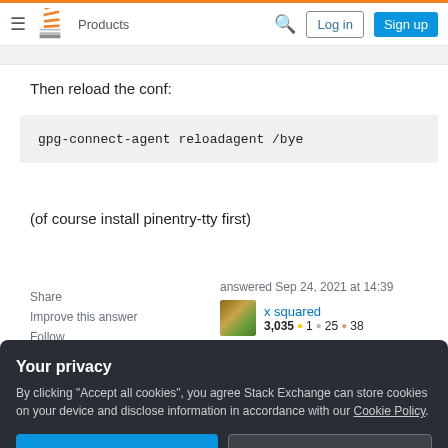≡ [Stack Overflow logo] Products 🔍 Log in Sign up
Then reload the conf:
gpg-connect-agent reloadagent /bye
(of course install pinentry-tty first)
Share
Improve this answer
Follow
answered Sep 24, 2021 at 14:39
x squared
3,035 ● 1 ● 25 ● 38
Your privacy
By clicking "Accept all cookies", you agree Stack Exchange can store cookies on your device and disclose information in accordance with our Cookie Policy.
Accept all cookies   Customize settings
different to the email you are using in git, you'll need